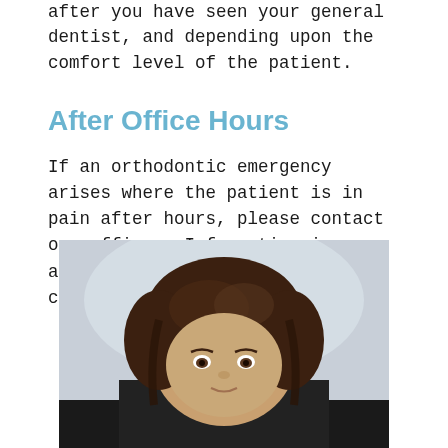after you have seen your general dentist, and depending upon the comfort level of the patient.
After Office Hours
If an orthodontic emergency arises where the patient is in pain after hours, please contact our office.  Information is available regarding who to contact for further assistance.
[Figure (photo): Photo of a young person with dark brown hair, looking at the camera, with a light background.]